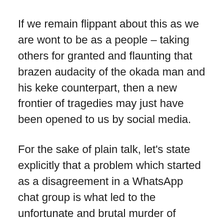If we remain flippant about this as we are wont to be as a people – taking others for granted and flaunting that brazen audacity of the okada man and his keke counterpart, then a new frontier of tragedies may just have been opened to us by social media.
For the sake of plain talk, let's state explicitly that a problem which started as a disagreement in a WhatsApp chat group is what led to the unfortunate and brutal murder of Deborah Yakubu, a student of the Shehu Shagari College of Education, Sokoto.